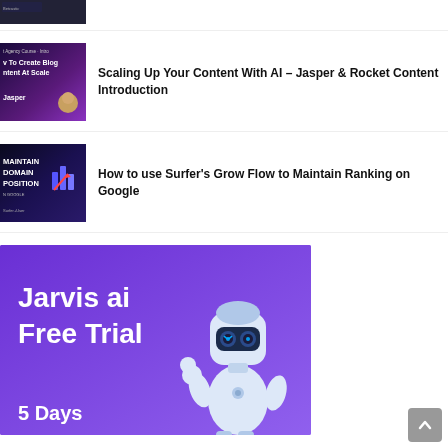[Figure (screenshot): Partial thumbnail of a video/course at the top, dark background with people]
[Figure (screenshot): Thumbnail: Agency Course Intro - How To Create Blog Content At Scale using Jasper, purple/dark background]
Scaling Up Your Content With AI – Jasper & Rocket Content Introduction
[Figure (screenshot): Thumbnail: Maintain Domain Position on Google, dark background with chart graphic]
How to use Surfer's Grow Flow to Maintain Ranking on Google
[Figure (illustration): Jarvis ai Free Trial banner with robot character, purple background, text: Jarvis ai Free Trial, 5 Days]